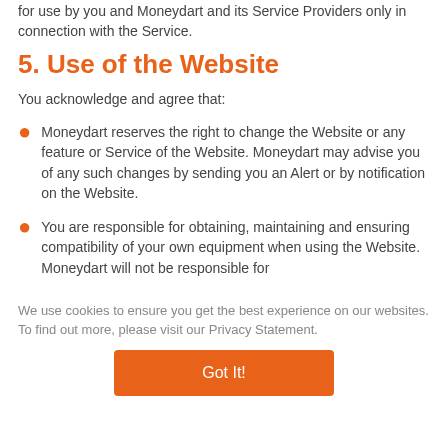for use by you and Moneydart and its Service Providers only in connection with the Service.
5. Use of the Website
You acknowledge and agree that:
Moneydart reserves the right to change the Website or any feature or Service of the Website. Moneydart may advise you of any such changes by sending you an Alert or by notification on the Website.
You are responsible for obtaining, maintaining and ensuring compatibility of your own equipment when using the Website. Moneydart will not be responsible for
We use cookies to ensure you get the best experience on our websites. To find out more, please visit our Privacy Statement.
Got It!